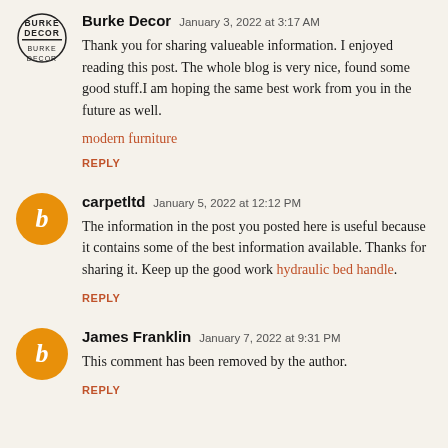[Figure (logo): Burke Decor logo — circular text arrangement spelling BURKE DECOR]
Burke Decor  January 3, 2022 at 3:17 AM
Thank you for sharing valueable information. I enjoyed reading this post. The whole blog is very nice, found some good stuff.I am hoping the same best work from you in the future as well.
modern furniture
REPLY
[Figure (logo): Orange circle with white italic B — Blogger default avatar]
carpetltd  January 5, 2022 at 12:12 PM
The information in the post you posted here is useful because it contains some of the best information available. Thanks for sharing it. Keep up the good work hydraulic bed handle.
REPLY
[Figure (logo): Orange circle with white italic B — Blogger default avatar]
James Franklin  January 7, 2022 at 9:31 PM
This comment has been removed by the author.
REPLY